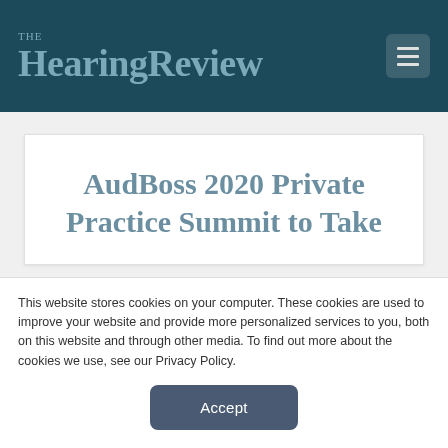The HearingReview
AudBoss 2020 Private Practice Summit to Take
This website stores cookies on your computer. These cookies are used to improve your website and provide more personalized services to you, both on this website and through other media. To find out more about the cookies we use, see our Privacy Policy.
Accept